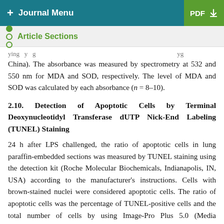+ Journal Menu  PDF
Article Sections
China). The absorbance was measured by spectrometry at 532 and 550 nm for MDA and SOD, respectively. The level of MDA and SOD was calculated by each absorbance (n = 8–10).
2.10. Detection of Apoptotic Cells by Terminal Deoxynucleotidyl Transferase dUTP Nick-End Labeling (TUNEL) Staining
24 h after LPS challenged, the ratio of apoptotic cells in lung paraffin-embedded sections was measured by TUNEL staining using the detection kit (Roche Molecular Biochemicals, Indianapolis, IN, USA) according to the manufacturer's instructions. Cells with brown-stained nuclei were considered apoptotic cells. The ratio of apoptotic cells was the percentage of TUNEL-positive cells and the total number of cells by using Image-Pro Plus 5.0 (Media Cybernetics, Silver Spring, USA). Ten random fields per section were analyzed and two